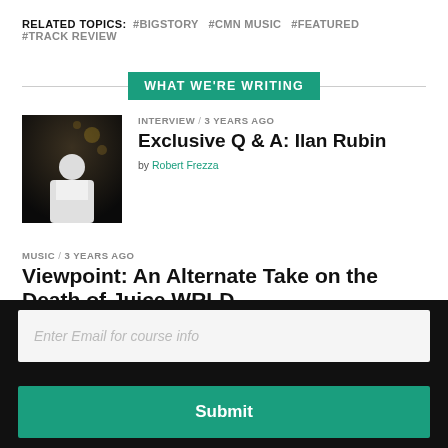RELATED TOPICS: #BIGSTORY #CMN MUSIC #FEATURED #TRACK REVIEW
WHAT WE'RE WRITING
[Figure (photo): Portrait photo of a person in dark clothing against a dark background]
INTERVIEW / 3 years ago
Exclusive Q & A: Ilan Rubin
by Robert Frezza
MUSIC / 3 years ago
Viewpoint: An Alternate Take on the Death of Juice WRLD
by Cody Ayres
MUSIC / 3 years ago